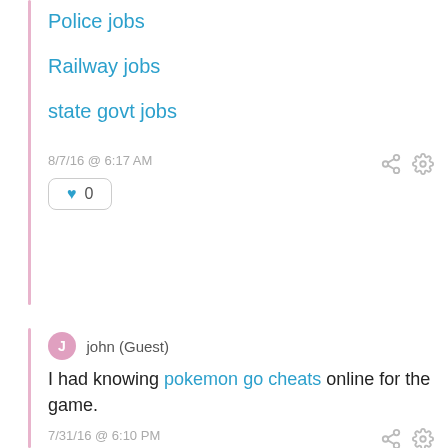Police jobs
Railway jobs
state govt jobs
8/7/16 @ 6:17 AM
♥ 0
john (Guest)
I had knowing pokemon go cheats online for the game.
7/31/16 @ 6:10 PM
♥ 0